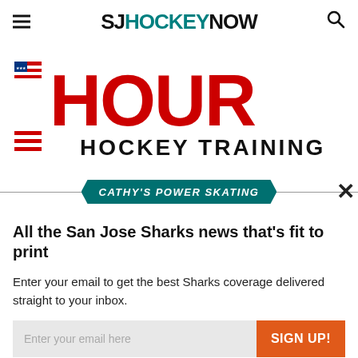SJ HOCKEY NOW
[Figure (logo): HOUR Hockey Training logo with US flag icon, large red text HOUR and black text HOCKEY TRAINING]
[Figure (infographic): Cathy's Power Skating banner with teal hexagonal label on horizontal line]
All the San Jose Sharks news that's fit to print
Enter your email to get the best Sharks coverage delivered straight to your inbox.
Enter your email here
SIGN UP!
We respect your privacy and take protecting it seriously